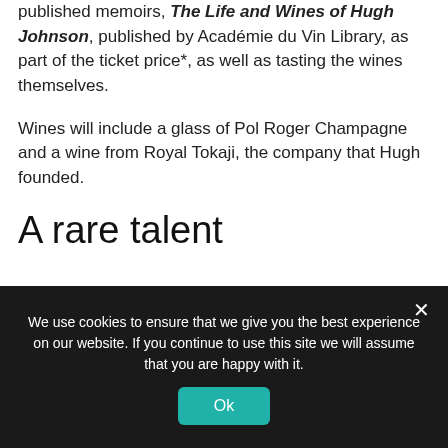published memoirs, The Life and Wines of Hugh Johnson, published by Académie du Vin Library, as part of the ticket price*, as well as tasting the wines themselves.
Wines will include a glass of Pol Roger Champagne and a wine from Royal Tokaji, the company that Hugh founded.
A rare talent
We use cookies to ensure that we give you the best experience on our website. If you continue to use this site we will assume that you are happy with it.